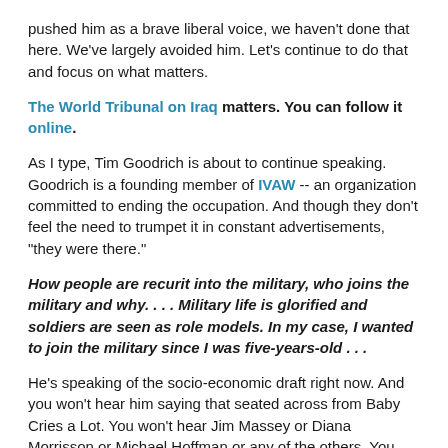pushed him as a brave liberal voice, we haven't done that here. We've largely avoided him. Let's continue to do that and focus on what matters.
The World Tribunal on Iraq matters. You can follow it online.
As I type, Tim Goodrich is about to continue speaking. Goodrich is a founding member of IVAW -- an organization committed to ending the occupation. And though they don't feel the need to trumpet it in constant advertisements, "they were there."
How people are recurit into the military, who joins the military and why. . . . Military life is glorified and soldiers are seen as role models. In my case, I wanted to join the military since I was five-years-old . . .
He's speaking of the socio-economic draft right now. And you won't hear him saying that seated across from Baby Cries a Lot. You won't hear Jim Massey or Diana Morrisson or Michael Hoffman or any of the others. You